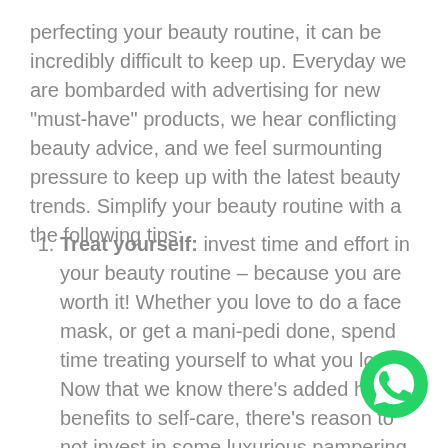perfecting your beauty routine, it can be incredibly difficult to keep up. Everyday we are bombarded with advertising for new "must-have" products, we hear conflicting beauty advice, and we feel surmounting pressure to keep up with the latest beauty trends. Simplify your beauty routine with a the following tips:
Treat yourself: invest time and effort in your beauty routine – because you are worth it! Whether you love to do a face mask, or get a mani-pedi done, spend time treating yourself to what you love. Now that we know there's added health benefits to self-care, there's reason to not invest in some luxurious pampering time!
[Figure (logo): WhatsApp logo icon — green circle with white telephone handset]